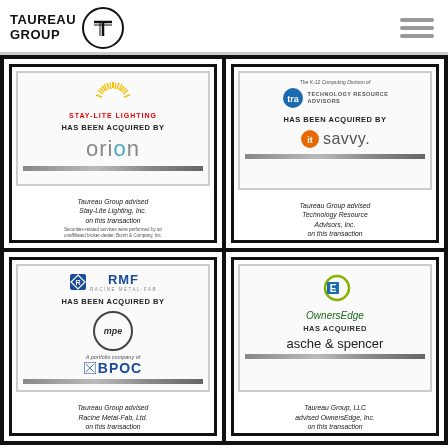TAUREAU GROUP
[Figure (logo): Taureau Group logo with circular T emblem]
[Figure (infographic): Transaction tombstone: Stay-Lite Lighting has been acquired by Orion. Taureau Group advised Stay-Lite Lighting, Inc. on this transaction.]
[Figure (infographic): Transaction tombstone: The K-12 Computing Division of Technology Resource Advisors has been acquired by IT Savvy. Taureau Group advised Technology Resource Advisors, Inc. on this transaction.]
[Figure (infographic): Transaction tombstone: RMF Racine Metal-Fab has been acquired by MPE, a portfolio company of BPOC. Taureau Group advised Racine Metal-Fab, Ltd. on this transaction.]
[Figure (infographic): Transaction tombstone: OwnersEdge has acquired asche & spencer. Taureau Group, LLC advised OwnersEdge, Inc. on this transaction.]